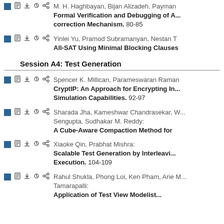M. H. Haghbayan, Bijan Alizadeh, Payman... Formal Verification and Debugging of A... correction Mechanism. 80-85
Yinlei Yu, Pramod Subramanyan, Nestan T... All-SAT Using Minimal Blocking Clauses...
Session A4: Test Generation
Spencer K. Millican, Parameswaran Raman... CryptIP: An Approach for Encrypting In... Simulation Capabilities. 92-97
Sharada Jha, Kameshwar Chandrasekar, W... Sengupta, Sudhakar M. Reddy: A Cube-Aware Compaction Method for...
Xiaoke Qin, Prabhat Mishra: Scalable Test Generation by Interleavi... Execution. 104-109
Rahul Shukla, Phong Loi, Ken Pham, Arie M... Tamarapalli: Application of Test View Modelist...